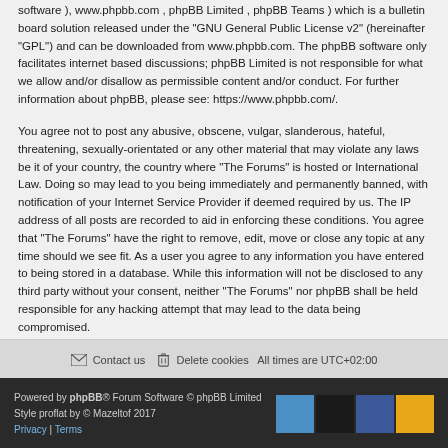software ), www.phpbb.com , phpBB Limited , phpBB Teams ) which is a bulletin board solution released under the "GNU General Public License v2" (hereinafter "GPL") and can be downloaded from www.phpbb.com. The phpBB software only facilitates internet based discussions; phpBB Limited is not responsible for what we allow and/or disallow as permissible content and/or conduct. For further information about phpBB, please see: https://www.phpbb.com/.
You agree not to post any abusive, obscene, vulgar, slanderous, hateful, threatening, sexually-orientated or any other material that may violate any laws be it of your country, the country where “The Forums” is hosted or International Law. Doing so may lead to you being immediately and permanently banned, with notification of your Internet Service Provider if deemed required by us. The IP address of all posts are recorded to aid in enforcing these conditions. You agree that “The Forums” have the right to remove, edit, move or close any topic at any time should we see fit. As a user you agree to any information you have entered to being stored in a database. While this information will not be disclosed to any third party without your consent, neither “The Forums” nor phpBB shall be held responsible for any hacking attempt that may lead to the data being compromised.
Contact us   Delete cookies   All times are UTC+02:00
Powered by phpBB® Forum Software © phpBB Limited | Style proflat by © Mazeltof 2017 | Privacy | Terms